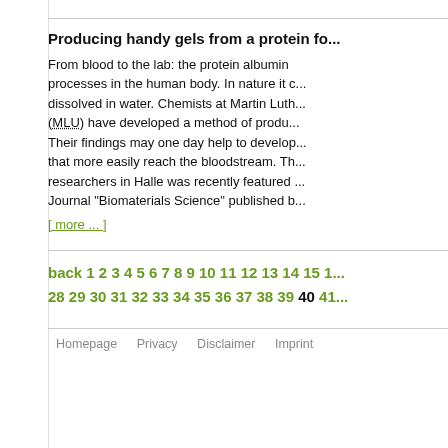Producing handy gels from a protein fo...
From blood to the lab: the protein albumin processes in the human body. In nature it c... dissolved in water. Chemists at Martin Luth... (MLU) have developed a method of produ... Their findings may one day help to develop... that more easily reach the bloodstream. Th... researchers in Halle was recently featured ... Journal "Biomaterials Science" published b...
[ more ... ]
back 1 2 3 4 5 6 7 8 9 10 11 12 13 14 15 1... 28 29 30 31 32 33 34 35 36 37 38 39 40 41...
Homepage  Privacy  Disclaimer  Imprint